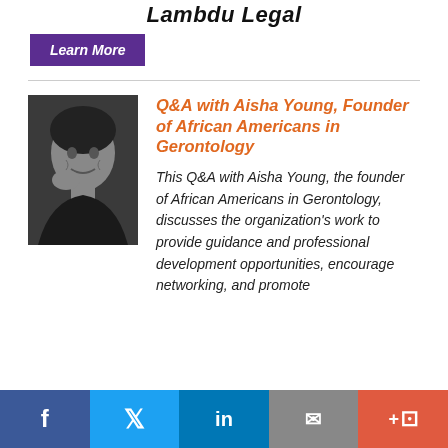Lambdu Legal
Learn More
[Figure (photo): Black and white portrait photo of Aisha Young, smiling woman resting chin on hand]
Q&A with Aisha Young, Founder of African Americans in Gerontology
This Q&A with Aisha Young, the founder of African Americans in Gerontology, discusses the organization's work to provide guidance and professional development opportunities, encourage networking, and promote
Social share bar: Facebook, Twitter, LinkedIn, Email, More/Accessibility